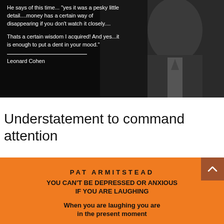[Figure (photo): Black and white photo of a man (Leonard Cohen) in a dark suit, with a quote overlaid on the left side in white text and a horizontal rule, attributed to Leonard Cohen.]
Understatement to command attention
[Figure (infographic): Orange background section with an upward arrow button in brown. Contains author name PAT ARMITSTEAD, book title YOU CAN'T BE DEPRESSED OR ANXIOUS IF YOU ARE LAUGHING, and subtitle When you are laughing you are in the present moment.]
PAT ARMITSTEAD
YOU CAN'T BE DEPRESSED OR ANXIOUS IF YOU ARE LAUGHING
When you are laughing you are in the present moment